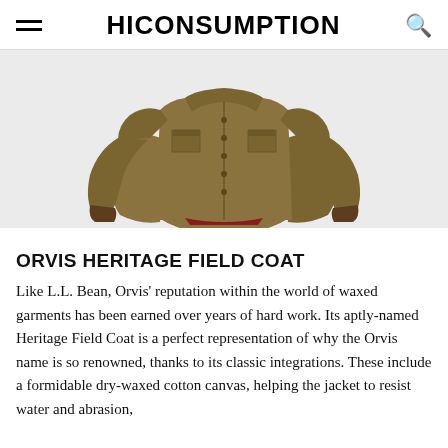HICONSUMPTION
[Figure (photo): Olive/tan waxed canvas field coat (Orvis Heritage Field Coat) displayed on white background, showing front with chest pockets, button closure, and brown leather-trim cuffs.]
ORVIS HERITAGE FIELD COAT
Like L.L. Bean, Orvis' reputation within the world of waxed garments has been earned over years of hard work. Its aptly-named Heritage Field Coat is a perfect representation of why the Orvis name is so renowned, thanks to its classic integrations. These include a formidable dry-waxed cotton canvas, helping the jacket to resist water and abrasion,